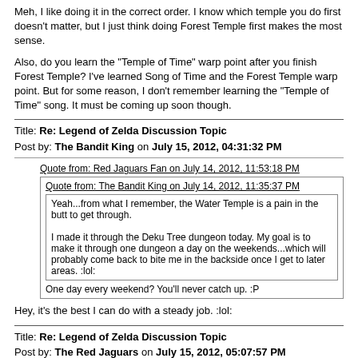Meh, I like doing it in the correct order. I know which temple you do first doesn't matter, but I just think doing Forest Temple first makes the most sense.
Also, do you learn the "Temple of Time" warp point after you finish Forest Temple? I've learned Song of Time and the Forest Temple warp point. But for some reason, I don't remember learning the "Temple of Time" song. It must be coming up soon though.
Title: Re: Legend of Zelda Discussion Topic
Post by: The Bandit King on July 15, 2012, 04:31:32 PM
Quote from: Red Jaguars Fan on July 14, 2012, 11:53:18 PM
Quote from: The Bandit King on July 14, 2012, 11:35:37 PM
Yeah...from what I remember, the Water Temple is a pain in the butt to get through.

I made it through the Deku Tree dungeon today. My goal is to make it through one dungeon a day on the weekends...which will probably come back to bite me in the backside once I get to later areas. :lol:
One day every weekend? You'll never catch up. :P
Hey, it's the best I can do with a steady job. :lol:
Title: Re: Legend of Zelda Discussion Topic
Post by: The Red Jaguars on July 15, 2012, 05:07:57 PM
Quote from: Purple Parrots Fan on July 15, 2012, 03:42:27 PM
Meh, I like doing it in the correct order. I know which temple you do first doesn't